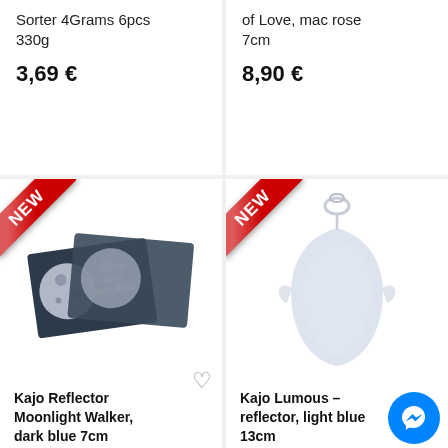Sorter 4Grams 6pcs 330g
3,69 €
of Love, mac rose 7cm
8,90 €
[Figure (photo): NEW ribbon banner on product card for Kajo Reflector Moonlight Walker]
[Figure (photo): Kajo Reflector Moonlight Walker dark blue 7cm product image showing dark blue card packaging with moon graphic]
Kajo Reflector Moonlight Walker, dark blue 7cm
[Figure (photo): NEW ribbon banner on product card for Kajo Lumous reflector]
[Figure (photo): Kajo Lumous reflector light blue 13cm product image showing light blue translucent reflector shape]
Kajo Lumous – reflector, light blue 13cm